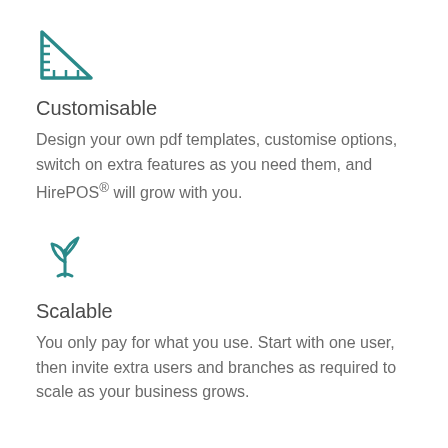[Figure (illustration): Teal/dark cyan icon of a ruler/set square triangle tool]
Customisable
Design your own pdf templates, customise options, switch on extra features as you need them, and HirePOS® will grow with you.
[Figure (illustration): Teal/dark cyan icon of a plant sprout with two leaves]
Scalable
You only pay for what you use. Start with one user, then invite extra users and branches as required to scale as your business grows.